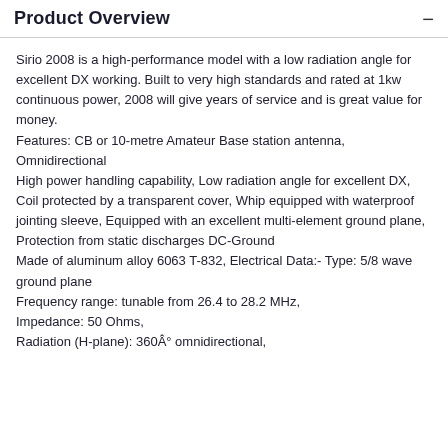Product Overview
Sirio 2008 is a high-performance model with a low radiation angle for excellent DX working. Built to very high standards and rated at 1kw continuous power, 2008 will give years of service and is great value for money.
Features: CB or 10-metre Amateur Base station antenna, Omnidirectional
High power handling capability, Low radiation angle for excellent DX, Coil protected by a transparent cover, Whip equipped with waterproof jointing sleeve, Equipped with an excellent multi-element ground plane, Protection from static discharges DC-Ground
Made of aluminum alloy 6063 T-832, Electrical Data:- Type: 5/8 wave ground plane
Frequency range: tunable from 26.4 to 28.2 MHz,
Impedance: 50 Ohms,
Radiation (H-plane): 360Â° omnidirectional,